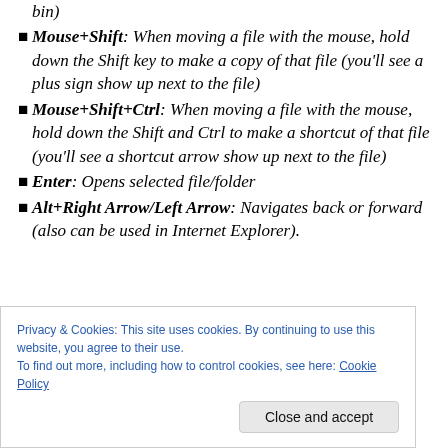bin)
Mouse+Shift: When moving a file with the mouse, hold down the Shift key to make a copy of that file (you'll see a plus sign show up next to the file)
Mouse+Shift+Ctrl: When moving a file with the mouse, hold down the Shift and Ctrl to make a shortcut of that file (you'll see a shortcut arrow show up next to the file)
Enter: Opens selected file/folder
Alt+Right Arrow/Left Arrow: Navigates back or forward (also can be used in Internet Explorer).
Privacy & Cookies: This site uses cookies. By continuing to use this website, you agree to their use.
To find out more, including how to control cookies, see here: Cookie Policy
Close and accept